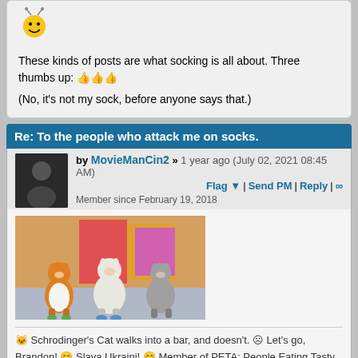[Figure (illustration): Bee emoji / mascot icon - yellow smiley face with antennae]
These kinds of posts are what socking is all about. Three thumbs up: 👍👍👍
(No, it's not my sock, before anyone says that.)
Re: To the people who attack me on socks.
by MovieManCin2 » 1 year ago (July 02, 2021 08:45 AM)
Flag ▼ | Send PM | Reply | ∞
Member since February 19, 2018
[Figure (photo): Three cartoon cat/animal figurines dancing or posing together in front of colorful background]
🐱 Schrodinger's Cat walks into a bar, and doesn't. ☹ Let's go, Brandon! 😊 Slava Ukraini! 😊 Member of PETA: People Eating Tasty Animals
Re: To the people who attack me on socks.